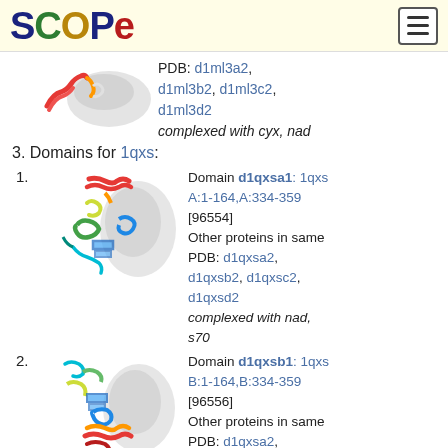SCOPe
[Figure (illustration): Partial protein structure image at top of page with rainbow coloring on grey background]
PDB: d1ml3a2, d1ml3b2, d1ml3c2, d1ml3d2
complexed with cyx, nad
3. Domains for 1qxs:
1.
[Figure (illustration): Protein structure domain 1 for 1qxs with rainbow coloring on grey background]
Domain d1qxsa1: 1qxs A:1-164,A:334-359 [96554]
Other proteins in same PDB: d1qxsa2, d1qxsb2, d1qxsc2, d1qxsd2
complexed with nad, s70
2.
[Figure (illustration): Protein structure domain 2 for 1qxs with rainbow coloring on grey background]
Domain d1qxsb1: 1qxs B:1-164,B:334-359 [96556]
Other proteins in same PDB: d1qxsa2,